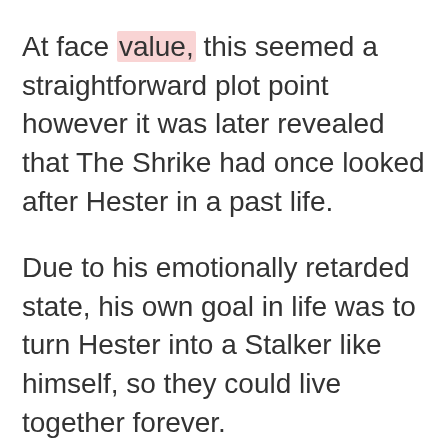At face value, this seemed a straightforward plot point however it was later revealed that The Shrike had once looked after Hester in a past life.
Due to his emotionally retarded state, his own goal in life was to turn Hester into a Stalker like himself, so they could live together forever.
In terms of memory retention, Shrike appears to be the exception to the [BACK TO TOP] was able to recall his past life as 'Kit Solent'